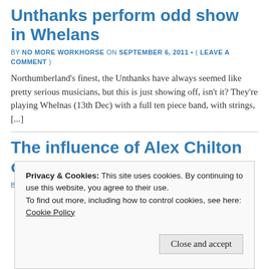Unthanks perform odd show in Whelans
BY NO MORE WORKHORSE ON SEPTEMBER 6, 2011 • ( LEAVE A COMMENT )
Northumberland's finest, the Unthanks have always seemed like pretty serious musicians, but this is just showing off, isn't it? They're playing Whelnas (13th Dec) with a full ten piece band, with strings, [...]
The influence of Alex Chilton on… everyone?
BY NO MORE WORKHORSE ON SEPTEMBER 5, 2011 • ( 2 COMMENTS )
Privacy & Cookies: This site uses cookies. By continuing to use this website, you agree to their use.
To find out more, including how to control cookies, see here: Cookie Policy
Close and accept